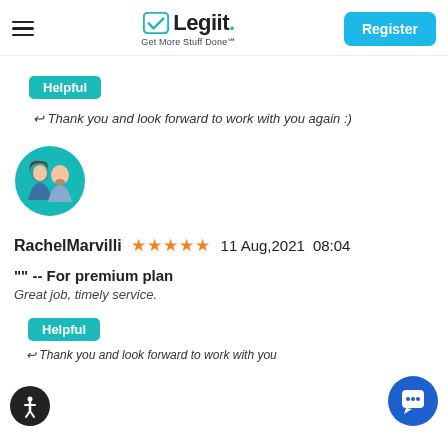[Figure (logo): Legiit logo with checkmark and tagline 'Get More Stuff Done']
Helpful
Thank you and look forward to work with you again :)
[Figure (illustration): Circular avatar with two user silhouettes on teal background]
RachelMarvilli ★★★★★ 11 Aug,2021 08:04
"" -- For premium plan
Great job, timely service.
Helpful
Thank you and look forward to work with you